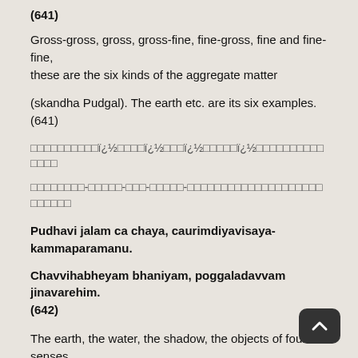(641)
Gross-gross, gross, gross-fine, fine-gross, fine and fine-fine, these are the six kinds of the aggregate matter
(skandha Pudgal). The earth etc. are its six examples. (641)
□□□□□□□□□□ï¿½□□□□ï¿½□□□ï¿½□□□□□ï¿½□□□□□□□□□□□□□□
□□□□□□□□-□□□□□-□□□-□□□□□-□□□□□□□□□□□□□□□□□□□□□□□□□□
Pudhavi jalam ca chaya, caurimdiyavisaya-kammaparamanu.
Chavvihabheyam bhaniyam, poggaladavvam jinavarehim. (642)
The earth, the water, the shadow, the objects of four senses, (except sight), the Karmic matter and the atoms,
these are the six different forms of matter. (642)